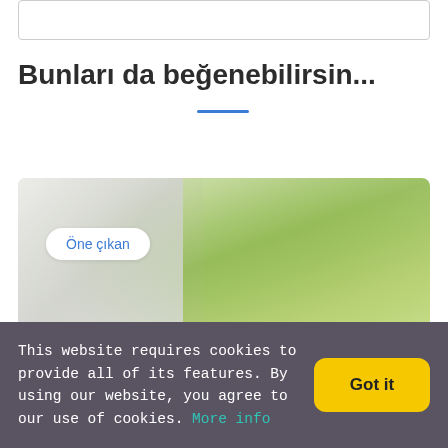[Figure (screenshot): Top search/input box outline]
Bunları da beğenebilirsin...
[Figure (photo): Interior room photo with green plant and white furniture, with 'Öne çıkan' badge overlay]
This website requires cookies to provide all of its features. By using our website, you agree to our use of cookies. More info